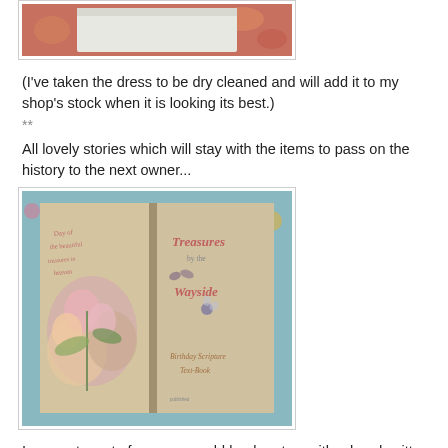[Figure (photo): Top portion of a photo showing what appears to be a white/cream colored garment or fabric on a pink patterned background, partially cropped at top.]
(I've taken the dress to be dry cleaned and will add it to my shop's stock when it is looking its best.)
**
All lovely stories which will stay with the items to pass on the history to the next owner...
[Figure (photo): An open antique book showing two pages. The right page reads 'Treasures by the Wayside, Birthday Scripture Text-Book'. The left page has floral illustrations with pink and yellow flowers and decorative text about treasures.]
I suspect most of us own an old book or two with a hand written inscription inside the front cover, sometimes with a date which always excites me as it gives a definite moment in time that records the beginning of its life.